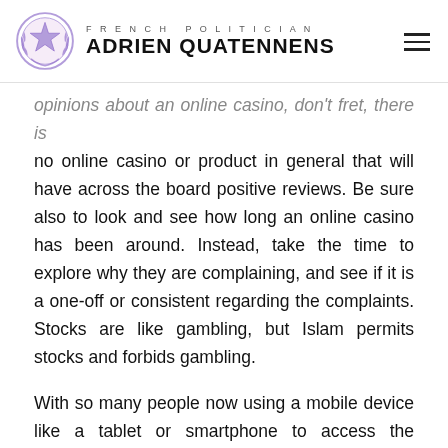FRENCH POLITICIAN ADRIEN QUATENNENS
opinions about an online casino, don't fret, there is no online casino or product in general that will have across the board positive reviews. Be sure also to look and see how long an online casino has been around. Instead, take the time to explore why they are complaining, and see if it is a one-off or consistent regarding the complaints. Stocks are like gambling, but Islam permits stocks and forbids gambling.
With so many people now using a mobile device like a tablet or smartphone to access the internet, a casino site needs to feature a great platform for mobile users. This is surely a site whose future is guaranteed and will be the top choice of players and for many years to come. Theoretically, an online